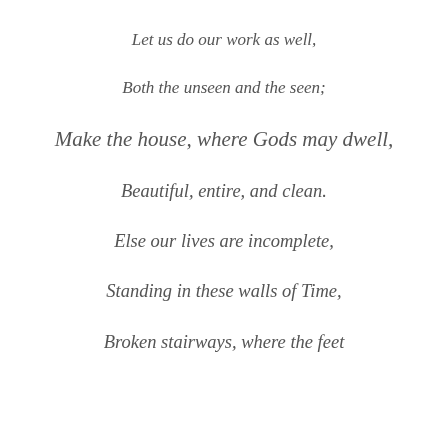Let us do our work as well,
Both the unseen and the seen;
Make the house, where Gods may dwell,
Beautiful, entire, and clean.
Else our lives are incomplete,
Standing in these walls of Time,
Broken stairways, where the feet